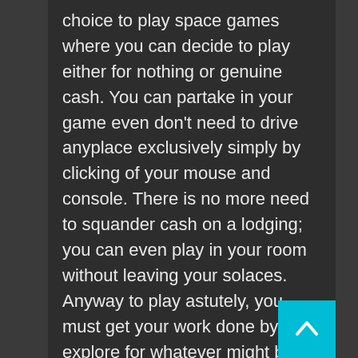choice to play space games where you can decide to play either for nothing or genuine cash. You can partake in your game even don't need to drive anyplace exclusively simply by clicking of your mouse and console. There is no more need to squander cash on a lodging; you can even play in your room without leaving your solaces. Anyway to play astutely, you must get your work done by explore for whatever might be most ideal and real site prior to entrusting your cash to an internet based gambling club. To win online openings big stakes, you should overhaul your gaming abilities by mastering more tips and strategies. There are numerous web-based sites that goes about as online aides for the gambling club game darlings and here you can gain proficiency with a few more with